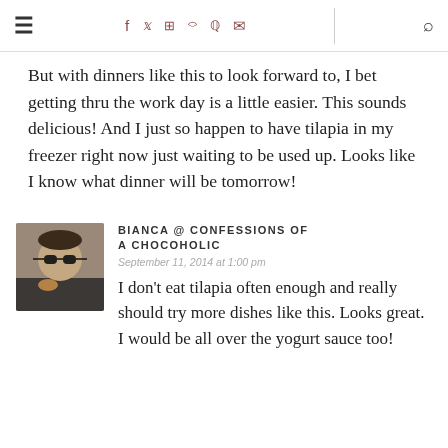≡  f  ✦  ⬡  ✉  ▸  ✉  |  🔍
But with dinners like this to look forward to, I bet getting thru the work day is a little easier. This sounds delicious! And I just so happen to have tilapia in my freezer right now just waiting to be used up. Looks like I know what dinner will be tomorrow!
BIANCA @ CONFESSIONS OF A CHOCOHOLIC
September 11, 2014 at 1:00 pm
I don't eat tilapia often enough and really should try more dishes like this. Looks great. I would be all over the yogurt sauce too!